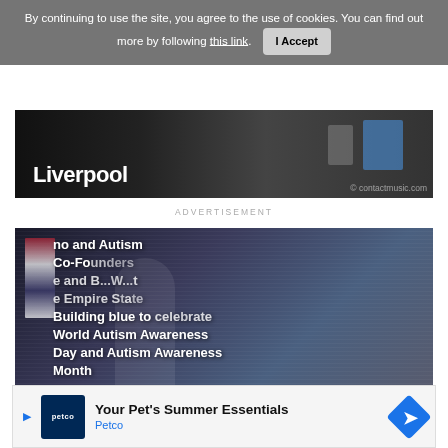By continuing to use the site, you agree to the use of cookies. You can find out more by following this link. I Accept
[Figure (photo): Partial image showing Liverpool text in white bold on dark background with contactmusic.com watermark]
ADVERTISEMENT
[Figure (photo): Woman in hard hat at Empire State Building lighting it blue to celebrate World Autism Awareness Day and Autism Awareness Month. Text overlay reads: ...no and Autism Co-Founders ...e and B...W...t ...e Empi...a... Building blue to celebrate World Autism Awareness Day and Autism Awareness Month]
[Figure (photo): Partial bottom image strip]
[Figure (other): Petco advertisement banner: Your Pet's Summer Essentials. Petco logo and navigation arrow icon.]